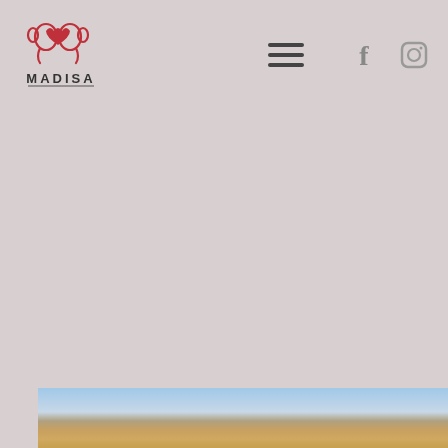[Figure (logo): Madisa logo with elephant heart icon above text MADISA]
[Figure (other): Hamburger menu icon (three horizontal lines)]
[Figure (other): Facebook and Instagram social media icons]
[Figure (photo): Partial landscape photo at bottom showing blue sky with clouds and rocky terrain]